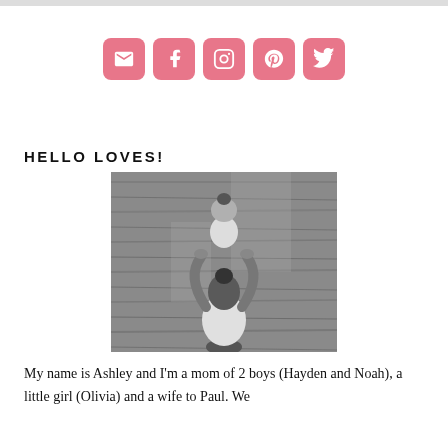[Figure (infographic): Five pink rounded square social media icon buttons: email/envelope, Facebook, Instagram, Pinterest, Twitter]
HELLO LOVES!
[Figure (photo): Black and white photo of a woman lifting a baby up above her head, with a rustic wooden background]
My name is Ashley and I'm a mom of 2 boys (Hayden and Noah), a little girl (Olivia) and a wife to Paul. We